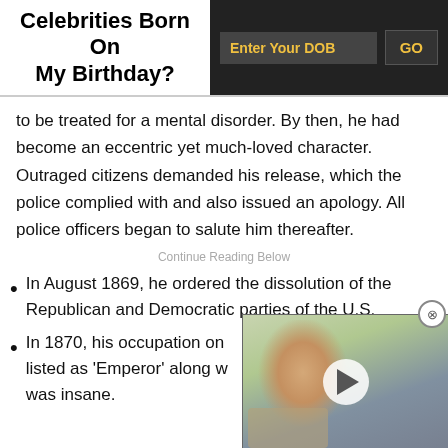Celebrities Born On My Birthday?
to be treated for a mental disorder. By then, he had become an eccentric yet much-loved character. Outraged citizens demanded his release, which the police complied with and also issued an apology. All police officers began to salute him thereafter.
Continue Reading Below
In August 1869, he ordered the dissolution of the Republican and Democratic parties of the U.S.
In 1870, his occupation on [the census was] listed as ‘Emperor’ along w[ith a note that he] was insane.
[Figure (photo): A man taking a selfie in what appears to be a room, with a play button overlay indicating a video.]